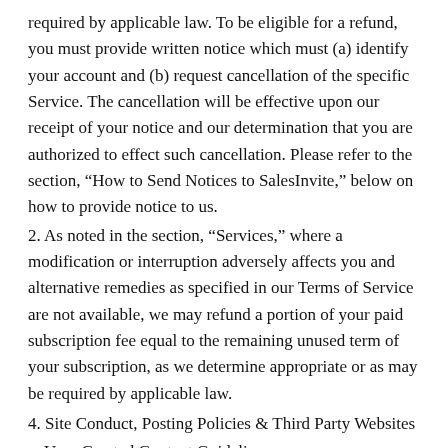required by applicable law. To be eligible for a refund, you must provide written notice which must (a) identify your account and (b) request cancellation of the specific Service. The cancellation will be effective upon our receipt of your notice and our determination that you are authorized to effect such cancellation. Please refer to the section, “How to Send Notices to SalesInvite,” below on how to provide notice to us.
2. As noted in the section, “Services,” where a modification or interruption adversely affects you and alternative remedies as specified in our Terms of Service are not available, we may refund a portion of your paid subscription fee equal to the remaining unused term of your subscription, as we determine appropriate or as may be required by applicable law.
4. Site Conduct, Posting Policies & Third Party Websites
a. User-Created Content Guidelines
Your use of the Site is subject to all applicable laws and regulations, and you are solely responsible for any comments or